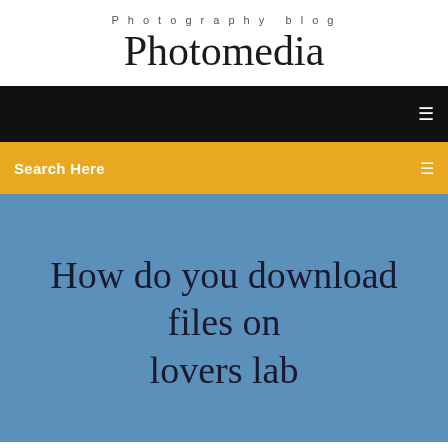Photography blog
Photomedia
[Figure (screenshot): Black navigation bar with a small white menu icon on the right]
[Figure (screenshot): Yellow/amber search bar with 'Search Here' text on the left and a small white icon on the right]
How do you download files on lovers lab